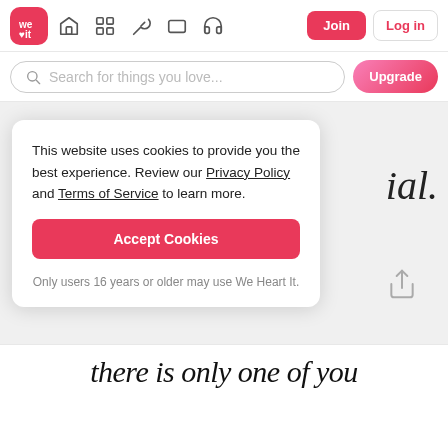[Figure (screenshot): We Heart It website navigation bar with logo, icons (home, grid, feather, rectangle, headphones), Join button and Log in button]
Search for things you love...
Upgrade
This website uses cookies to provide you the best experience. Review our Privacy Policy and Terms of Service to learn more.
Accept Cookies
Only users 16 years or older may use We Heart It.
ial.
there is only one of you